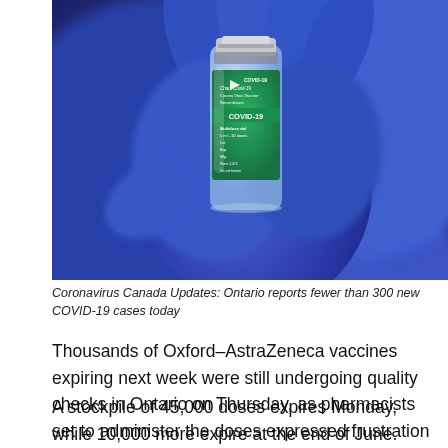[Figure (photo): A gloved hand in blue latex gloves holding a small glass vaccine vial with a green label reading COVID-19 Oxford-AstraZeneca Vaccine Recombinant, multidose vial.]
Coronavirus Canada Updates: Ontario reports fewer than 300 new COVID-19 cases today
Thousands of Oxford-AstraZeneca vaccines expiring next week were still undergoing quality checks in Ontario on Thursday, as pharmacists set to administer the doses expressed frustration over the delay.
A stockpile of 45,000 doses expires Monday, while 10,000 more expire at the end of June. The province said about 5,000 were to be sent out later Thursday, another 12,000 were to be cleared Friday and others were still